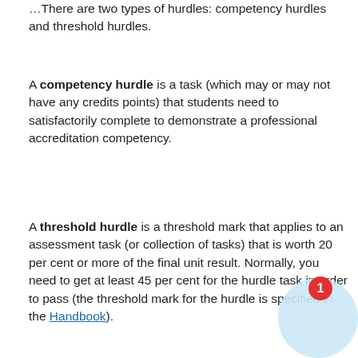There are two types of hurdles: competency hurdles and threshold hurdles.
A competency hurdle is a task (which may or may not have any credits points) that students need to satisfactorily complete to demonstrate a professional accreditation competency.
A threshold hurdle is a threshold mark that applies to an assessment task (or collection of tasks) that is worth 20 per cent or more of the final unit result. Normally, you need to get at least 45 per cent for the hurdle task in order to pass (the threshold mark for the hurdle is specified in the Handbook).